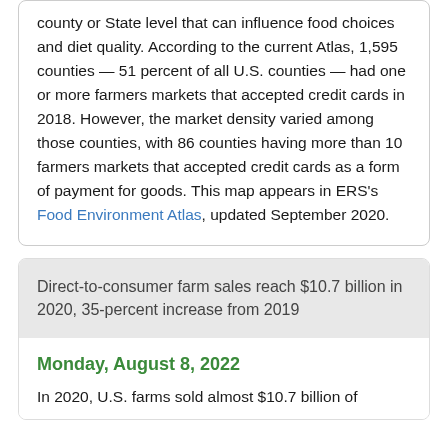county or State level that can influence food choices and diet quality. According to the current Atlas, 1,595 counties — 51 percent of all U.S. counties — had one or more farmers markets that accepted credit cards in 2018. However, the market density varied among those counties, with 86 counties having more than 10 farmers markets that accepted credit cards as a form of payment for goods. This map appears in ERS's Food Environment Atlas, updated September 2020.
Direct-to-consumer farm sales reach $10.7 billion in 2020, 35-percent increase from 2019
Monday, August 8, 2022
In 2020, U.S. farms sold almost $10.7 billion of